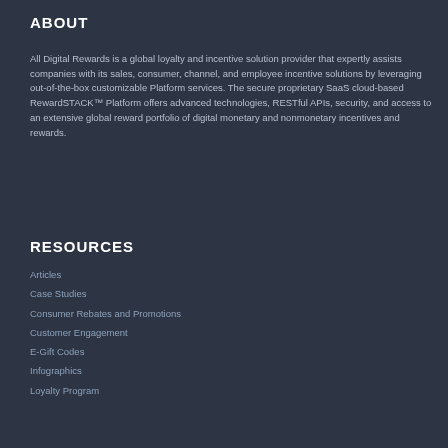ABOUT
All Digital Rewards is a global loyalty and incentive solution provider that expertly assists companies with its sales, consumer, channel, and employee incentive solutions by leveraging out-of-the-box customizable Platform services. The secure proprietary SaaS cloud-based RewardSTACK™ Platform offers advanced technologies, RESTful APIs, security, and access to an extensive global reward portfolio of digital monetary and nonmonetary incentives and rewards.
RESOURCES
Articles
Case Studies
Consumer Rebates and Promotions
Customer Engagement
E-Gift Codes
Infographics
Loyalty Program